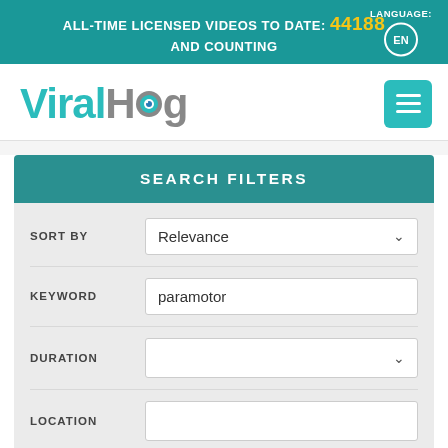ALL-TIME LICENSED VIDEOS TO DATE: 44188 AND COUNTING | LANGUAGE: EN
[Figure (logo): ViralHog logo with teal 'Viral' text and gray 'Hog' text, the 'o' styled as an eye]
SEARCH FILTERS
SORT BY — Relevance (dropdown)
KEYWORD — paramotor (text input)
DURATION — (dropdown)
LOCATION — (text input)
CLEARANCE DATE — (partially visible)